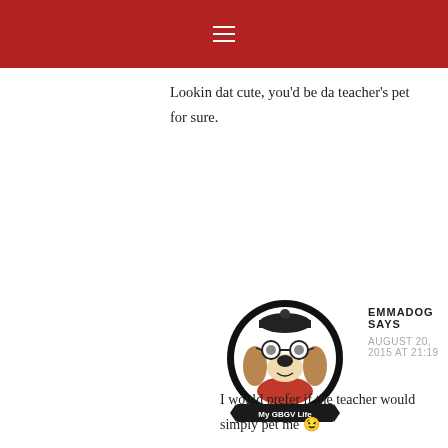Lookin dat cute, you'd be da teacher's pet for sure.
EMMADOG SAYS
AUGUST 20, 2015 AT 21:19
[Figure (logo): Circular avatar logo for 'My GBGV Life' blog featuring a cartoon dog character wearing glasses and a red outfit, with black circle border and banner at bottom.]
I would prefer if the teacher would simply pet me 😉